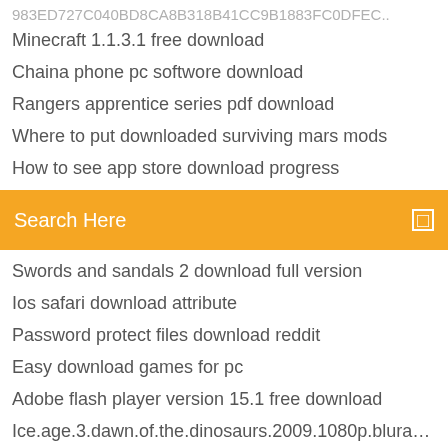983ED727C040BD8CA8B318B41CC9B1883FC0DFEC..
Minecraft 1.1.3.1 free download
Chaina phone pc softwore download
Rangers apprentice series pdf download
Where to put downloaded surviving mars mods
How to see app store download progress
Search Here
Swords and sandals 2 download full version
Ios safari download attribute
Password protect files download reddit
Easy download games for pc
Adobe flash player version 15.1 free download
Ice.age.3.dawn.of.the.dinosaurs.2009.1080p.bluray.h264.aac-rarbg subtitle file download
To download minecraft sky factory 4 pc
Jeff walker launch pdf download
Google chrome download waterfox browser